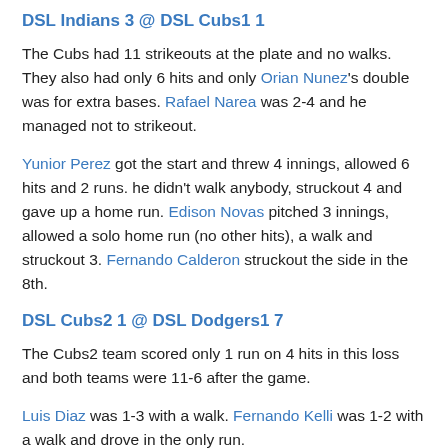DSL Indians 3 @ DSL Cubs1 1
The Cubs had 11 strikeouts at the plate and no walks. They also had only 6 hits and only Orian Nunez's double was for extra bases. Rafael Narea was 2-4 and he managed not to strikeout.
Yunior Perez got the start and threw 4 innings, allowed 6 hits and 2 runs. he didn't walk anybody, struckout 4 and gave up a home run. Edison Novas pitched 3 innings, allowed a solo home run (no other hits), a walk and struckout 3. Fernando Calderon struckout the side in the 8th.
DSL Cubs2 1 @ DSL Dodgers1 7
The Cubs2 team scored only 1 run on 4 hits in this loss and both teams were 11-6 after the game.
Luis Diaz was 1-3 with a walk. Fernando Kelli was 1-2 with a walk and drove in the only run.
Emilio Romero hit 1-2...